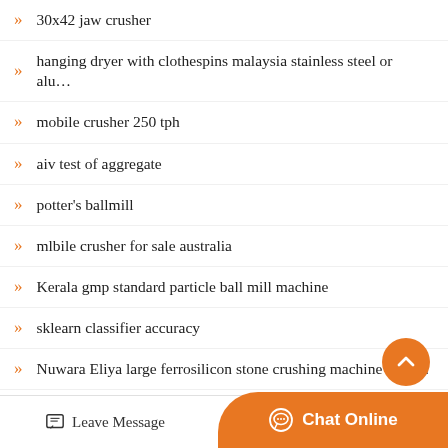30x42 jaw crusher
hanging dryer with clothespins malaysia stainless steel or alu…
mobile crusher 250 tph
aiv test of aggregate
potter's ballmill
mlbile crusher for sale australia
Kerala gmp standard particle ball mill machine
sklearn classifier accuracy
Nuwara Eliya large ferrosilicon stone crushing machine for s…
iso magnetic separator price
Leave Message  Chat Online